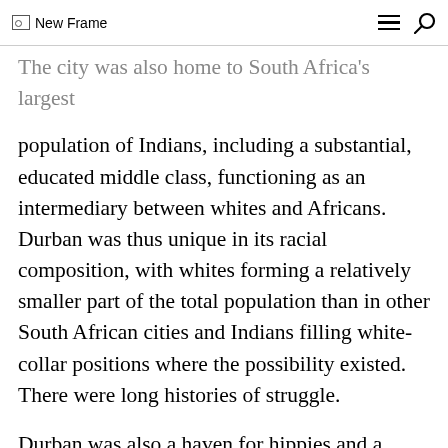New Frame
The city was also home to South Africa's largest population of Indians, including a substantial, educated middle class, functioning as an intermediary between whites and Africans. Durban was thus unique in its racial composition, with whites forming a relatively smaller part of the total population than in other South African cities and Indians filling white-collar positions where the possibility existed. There were long histories of struggle.
Durban was also a haven for hippies and a counterculture movement, with runaway school